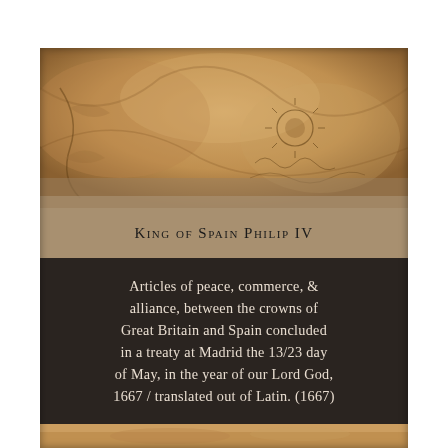[Figure (illustration): Book cover image showing parchment texture with decorative engravings at top]
King of Spain Philip IV
Articles of peace, commerce, & alliance, between the crowns of Great Britain and Spain concluded in a treaty at Madrid the 13/23 day of May, in the year of our Lord God, 1667 / translated out of Latin. (1667)